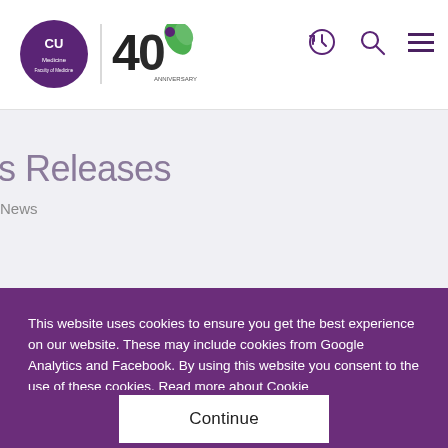CU Medicine | 40th Anniversary — navigation header with clock, search, and menu icons
s Releases
News
This website uses cookies to ensure you get the best experience on our website. These may include cookies from Google Analytics and Facebook. By using this website you consent to the use of these cookies. Read more about Cookie
Continue